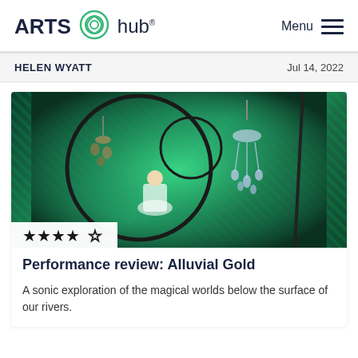ARTS hub®  Menu
HELEN WYATT  Jul 14, 2022
[Figure (photo): Performer working at a circular installation with green glowing background and hanging chandelier-like decorations; 4 out of 5 star rating shown below image]
Performance review: Alluvial Gold
A sonic exploration of the magical worlds below the surface of our rivers.